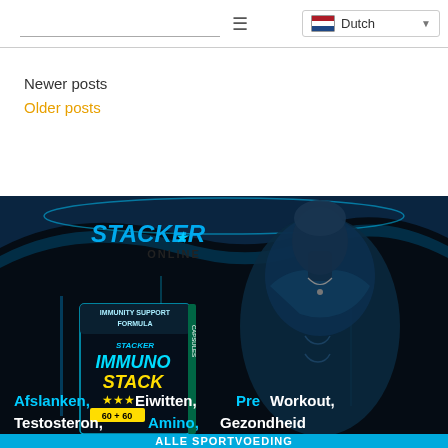Dutch
Newer posts
Older posts
[Figure (photo): Stacker Online advertisement banner showing a muscular man with the Stacker Immuno Stack supplement product, with text: Afslanken, Eiwitten, Pre Workout, Testosteron, Amino, Gezondheid, ALLE SPORTVOEDING]